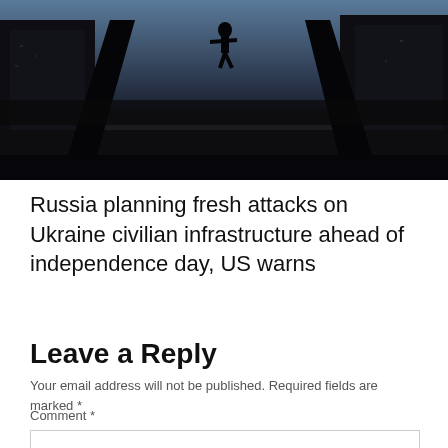[Figure (photo): Dark silhouette of a person standing on top of a large structure (possibly a tank or monument) against a bright sky, with city buildings visible on both sides in a wide-angle shot.]
Russia planning fresh attacks on Ukraine civilian infrastructure ahead of independence day, US warns
Leave a Reply
Your email address will not be published. Required fields are marked *
Comment *